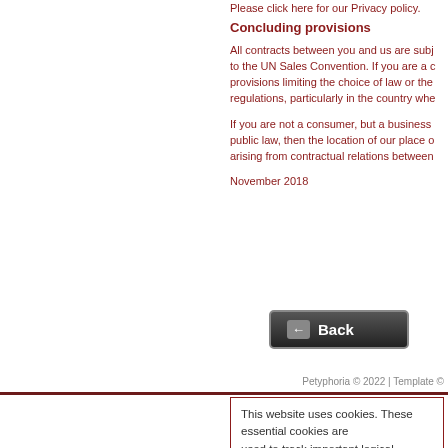Please click here for our Privacy policy.
Concluding provisions
All contracts between you and us are subject to the UN Sales Convention. If you are a consumer, provisions limiting the choice of law or the regulations, particularly in the country whe...
If you are not a consumer, but a business or public law, then the location of our place of arising from contractual relations between...
November 2018
[Figure (other): Back button with left arrow icon on dark background]
Petyphoria © 2022 | Template ©
This website uses cookies. These essential cookies are used to track important logical information for the smooth operation of the site.  Read more   OK